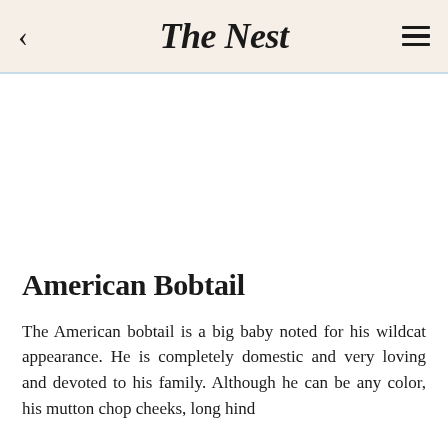The Nest
[Figure (photo): White/blank image area where a photo of an American Bobtail cat would appear]
American Bobtail
The American bobtail is a big baby noted for his wildcat appearance. He is completely domestic and very loving and devoted to his family. Although he can be any color, his mutton chop cheeks, long hind...